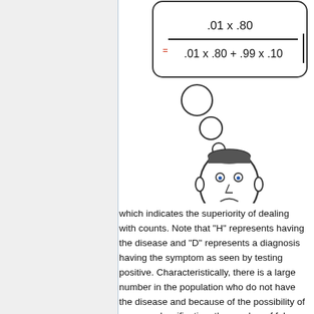[Figure (math-figure): Fraction formula: .01 x .80 divided by .01 x .80 + .99 x .10, shown as a typeset equation inside a rounded rectangle box at the top of the page]
[Figure (illustration): Cartoon illustration of a sad person's head with thought bubbles rising above it, representing a person worrying about a medical test result]
which indicates the superiority of dealing with counts. Note that "H" represents having the disease and "D" represents a diagnosis having the symptom as seen by testing positive. Characteristically, there is a large number in the population who do not have the disease and because of the possibility of a wrong classification, the number of false